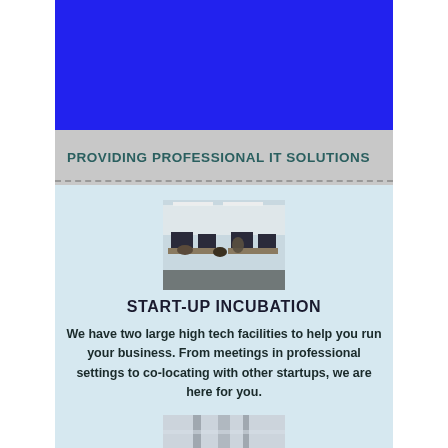[Figure (other): Blue banner/header bar at top of page]
PROVIDING PROFESSIONAL IT SOLUTIONS
[Figure (photo): Office workspace with people working at computers in a modern high-tech facility]
START-UP INCUBATION
We have two large high tech facilities to help you run your business. From meetings in professional settings to co-locating with other startups, we are here for you.
[Figure (photo): Partial photo of a building or facility at bottom of page]